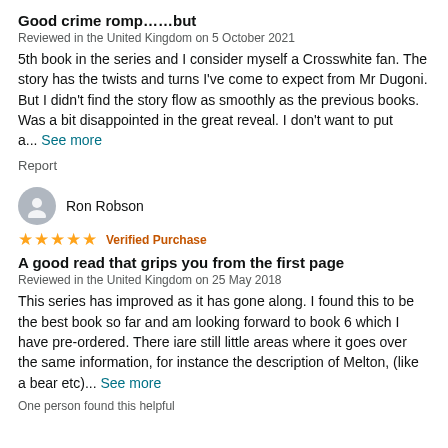Good crime romp……but
Reviewed in the United Kingdom on 5 October 2021
5th book in the series and I consider myself a Crosswhite fan. The story has the twists and turns I've come to expect from Mr Dugoni. But I didn't find the story flow as smoothly as the previous books. Was a bit disappointed in the great reveal. I don't want to put a... See more
Report
Ron Robson
★★★★★ Verified Purchase
A good read that grips you from the first page
Reviewed in the United Kingdom on 25 May 2018
This series has improved as it has gone along. I found this to be the best book so far and am looking forward to book 6 which I have pre-ordered. There iare still little areas where it goes over the same information, for instance the description of Melton, (like a bear etc)... See more
One person found this helpful